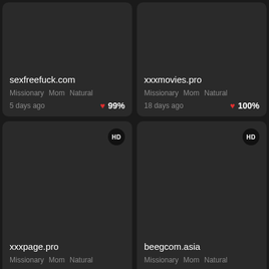sexfreefuck.com | Missionary Mom Natural | 5 days ago | 99%
xxxmovies.pro | Missionary Mom Natural | 18 days ago | 100%
[Figure (screenshot): Dark thumbnail card for xxxpage.pro with HD badge, tags: Missionary Mom Natural, 27 days ago, 78% rating]
[Figure (screenshot): Dark thumbnail card for beegcom.asia with HD badge, tags: Missionary Mom Natural, 16 days ago, 89% rating]
[Figure (screenshot): Partial dark thumbnail card with HD badge, bottom row left, partially cut off]
[Figure (screenshot): Partial dark thumbnail card with HD badge, bottom row right, partially cut off]